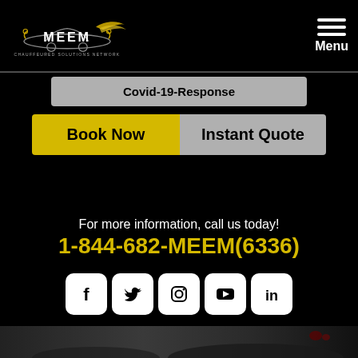[Figure (logo): MEEM Chauffeured Solutions Network logo with car silhouette and wing graphic, gold and white on black]
Menu
Covid-19-Response
Book Now
Instant Quote
For more information, call us today!
1-844-682-MEEM(6336)
[Figure (illustration): Social media icons: Facebook, Twitter, Instagram, YouTube, LinkedIn — white rounded square buttons]
[Figure (photo): Dark luxury sports car photographed from rear quarter angle on black background]